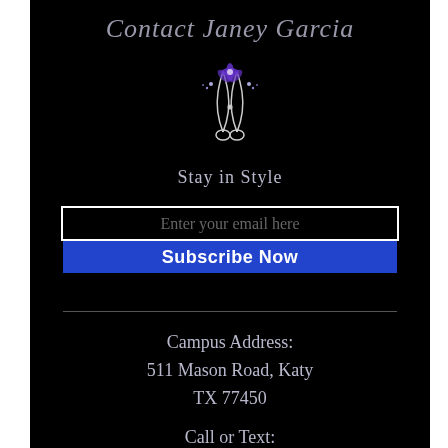Contact Janey Garcia
[Figure (illustration): Decorative scissors logo with purple floral accents on black background]
Stay in Style
Enter your email here
Subscribe Now
Campus Address:
511 Mason Road, Katy
TX 77450
Call or Text: